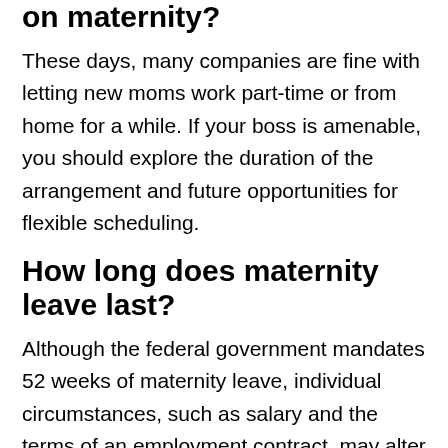on maternity?
These days, many companies are fine with letting new moms work part-time or from home for a while. If your boss is amenable, you should explore the duration of the arrangement and future opportunities for flexible scheduling.
How long does maternity leave last?
Although the federal government mandates 52 weeks of maternity leave, individual circumstances, such as salary and the terms of an employment contract, may alter this time period.
In addition to the financial benefit, working for a